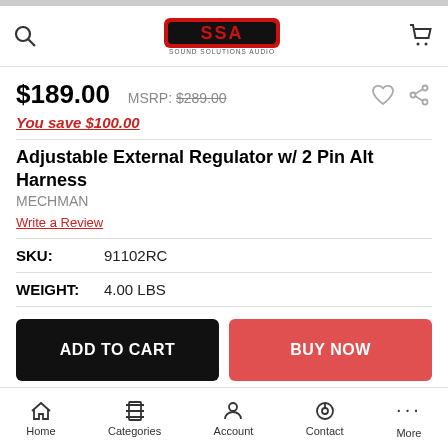Sound Solutions Audio — SSA header with search and cart icons
$189.00   MSRP: $289.00
You save $100.00
Adjustable External Regulator w/ 2 Pin Alt Harness
MECHMAN
Write a Review
SKU: 91102RC
WEIGHT: 4.00 LBS
ADD TO CART   BUY NOW
Home   Categories   Account   Contact   More